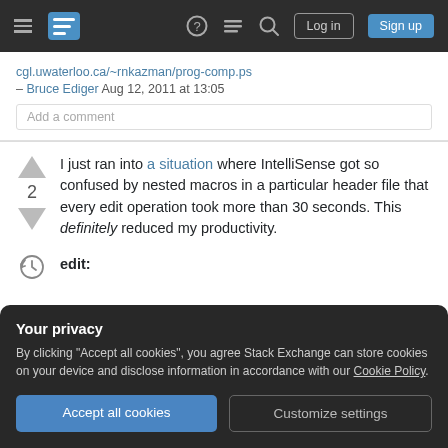Stack Exchange navigation bar with Log in and Sign up buttons
cgl.uwaterloo.ca/~rnkazman/prog-comp.ps – Bruce Ediger Aug 12, 2011 at 13:05
Add a comment
I just ran into a situation where IntelliSense got so confused by nested macros in a particular header file that every edit operation took more than 30 seconds. This definitely reduced my productivity.
edit:
Your privacy
By clicking "Accept all cookies", you agree Stack Exchange can store cookies on your device and disclose information in accordance with our Cookie Policy.
Accept all cookies  Customize settings